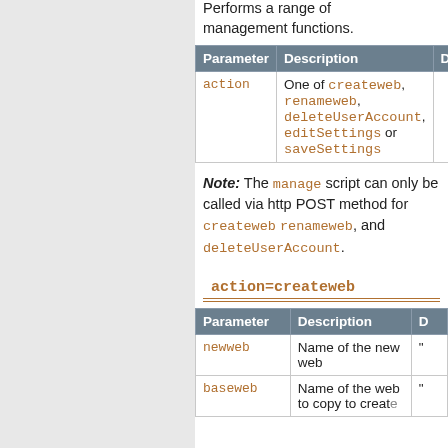Performs a range of management functions.
| Parameter | Description | D |
| --- | --- | --- |
| action | One of createweb, renameweb, deleteUserAccount, editSettings or saveSettings |  |
Note: The manage script can only be called via http POST method for createweb renameweb, and deleteUserAccount.
action=createweb
| Parameter | Description | D |
| --- | --- | --- |
| newweb | Name of the new web | " |
| baseweb | Name of the web to copy to create | " |